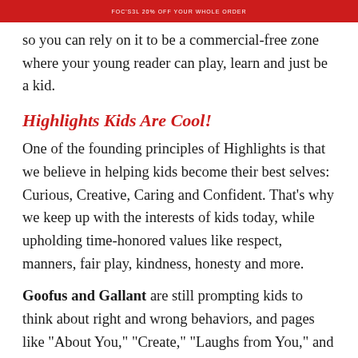FOC'S3L 20% OFF YOUR WHOLE ORDER
so you can rely on it to be a commercial-free zone where your young reader can play, learn and just be a kid.
Highlights Kids Are Cool!
One of the founding principles of Highlights is that we believe in helping kids become their best selves: Curious, Creative, Caring and Confident. That's why we keep up with the interests of kids today, while upholding time-honored values like respect, manners, fair play, kindness, honesty and more.
Goofus and Gallant are still prompting kids to think about right and wrong behaviors, and pages like "About You," "Create," "Laughs from You," and "Dear Highlights"